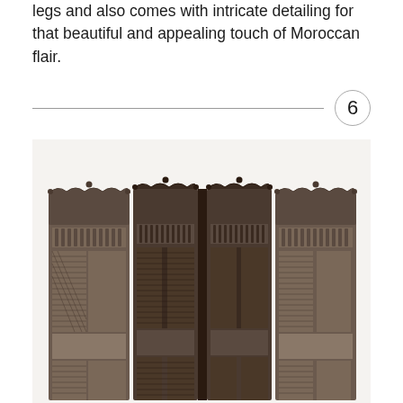legs and also comes with intricate detailing for that beautiful and appealing touch of Moroccan flair.
6
[Figure (photo): A decorative Moroccan-style wooden room divider/screen with four panels, featuring intricate carved lattice work and ornate decorative carved tops. The wood appears dark brown/grey in color.]